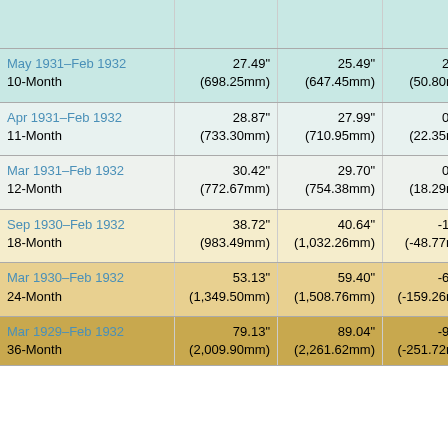| Period | Actual | Normal | Departure | Rank |
| --- | --- | --- | --- | --- |
| May 1931–Feb 1932 / 10-Month | 27.49" (698.25mm) | 25.49" (647.45mm) | 2.00" (50.80mm) | 87th D... / 41st We... |
| Apr 1931–Feb 1932 / 11-Month | 28.87" (733.30mm) | 27.99" (710.95mm) | 0.88" (22.35mm) | 72nd D... / 56th W... |
| Mar 1931–Feb 1932 / 12-Month | 30.42" (772.67mm) | 29.70" (754.38mm) | 0.72" (18.29mm) | 67th D... / 61st W... |
| Sep 1930–Feb 1932 / 18-Month | 38.72" (983.49mm) | 40.64" (1,032.26mm) | -1.92" (-48.77mm) | 32nd D... / 95th W... |
| Mar 1930–Feb 1932 / 24-Month | 53.13" (1,349.50mm) | 59.40" (1,508.76mm) | -6.27" (-159.26mm) | 12th D... / 115th W... |
| Mar 1929–Feb 1932 / 36-Month | 79.13" (2,009.90mm) | 89.04" (2,261.62mm) | -9.91" (-251.72mm) | 4th Dr... |